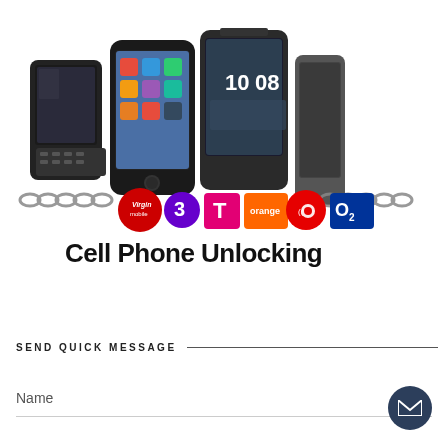[Figure (illustration): Cell Phone Unlocking advertisement image showing multiple smartphones (BlackBerry, iPhone, HTC/Android phones) arranged together with a chain running across them showing carrier logos: Virgin Mobile, 3, T-Mobile, Orange, Vodafone, O2. Below the phones and logos is bold text reading 'Cell Phone Unlocking'.]
SEND QUICK MESSAGE
Name